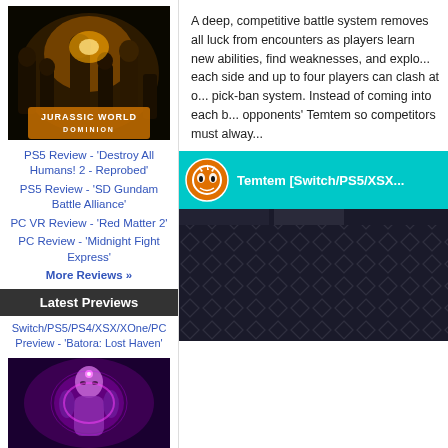[Figure (photo): Jurassic World Dominion movie poster - dark background with characters and golden title text]
PS5 Review - 'Destroy All Humans! 2 - Reprobed'
PS5 Review - 'SD Gundam Battle Alliance'
PC VR Review - 'Red Matter 2'
PC Review - 'Midnight Fight Express'
More Reviews »
Latest Previews
Switch/PS5/PS4/XSX/XOne/PC Preview - 'Batora: Lost Haven'
[Figure (screenshot): Batora: Lost Haven game screenshot showing a female character with pink/purple glow]
A deep, competitive battle system removes all luck from encounters as players learn new abilities, find weaknesses, and exploit type synergies. Up to three on each side and up to four players can clash at once in an innovative pick-ban system. Instead of coming into each battle with full knowledge of opponents' Temtem so competitors must always
[Figure (screenshot): Temtem [Switch/PS5/XSX...] video embed thumbnail with teal header bar, WP logo, and dark diamond pattern background]